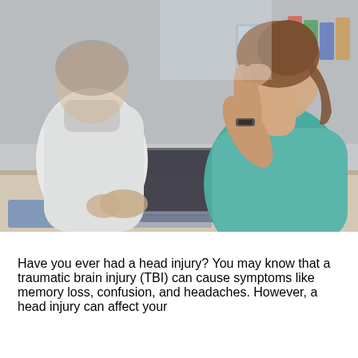[Figure (photo): A woman in a teal shirt sitting across from a doctor in a white coat at a desk. The woman has her hand raised to her forehead/face, appearing to be in distress or pain. The doctor's hands are clasped on the desk. A laptop and blurred background office items are visible.]
Have you ever had a head injury? You may know that a traumatic brain injury (TBI) can cause symptoms like memory loss, confusion, and headaches. However, a head injury can affect your